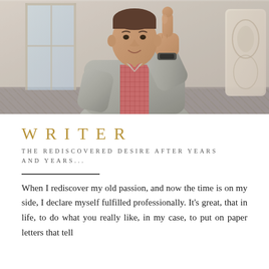[Figure (photo): Man in gray blazer and pink checkered shirt giving a thumbs up, seated in a room with a window and decorative chair visible in background]
WRITER
THE REDISCOVERED DESIRE AFTER YEARS AND YEARS...
When I rediscover my old passion, and now the time is on my side, I declare myself fulfilled professionally. It's great, that in life, to do what you really like, in my case, to put on paper letters that tell